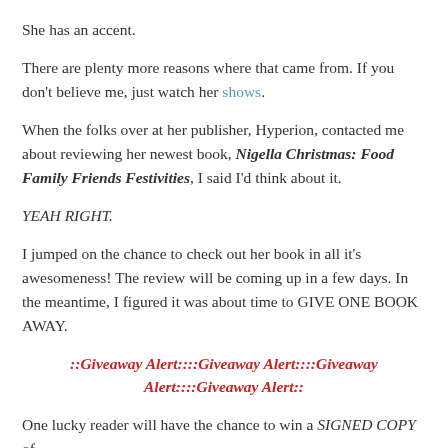She has an accent.
There are plenty more reasons where that came from. If you don't believe me, just watch her shows.
When the folks over at her publisher, Hyperion, contacted me about reviewing her newest book, Nigella Christmas: Food Family Friends Festivities, I said I'd think about it.
YEAH RIGHT.
I jumped on the chance to check out her book in all it's awesomeness! The review will be coming up in a few days. In the meantime, I figured it was about time to GIVE ONE BOOK AWAY.
::Giveaway Alert::::Giveaway Alert::::Giveaway Alert::::Giveaway Alert::
One lucky reader will have the chance to win a SIGNED COPY of